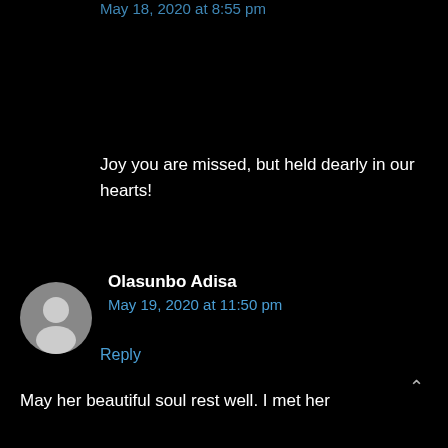May 18, 2020 at 8:55 pm
Joy you are missed, but held dearly in our hearts!
Reply
Olasunbo Adisa
May 19, 2020 at 11:50 pm
May her beautiful soul rest well. I met her